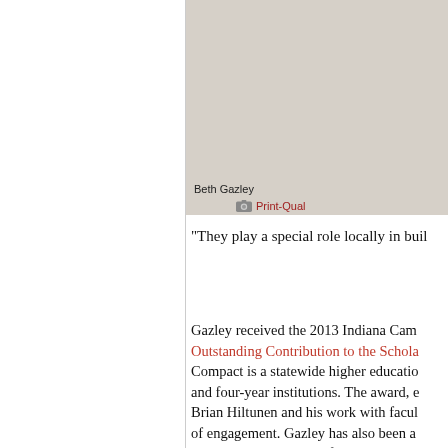[Figure (photo): Photo of Beth Gazley, shown against a beige/tan background]
Beth Gazley
Print-Qual
"They play a special role locally in buil
Gazley received the 2013 Indiana Camp Outstanding Contribution to the Schola Compact is a statewide higher educatio and four-year institutions. The award, e Brian Hiltunen and his work with facu of engagement. Gazley has also been a Thomas Ehrlich Award for Service Lea